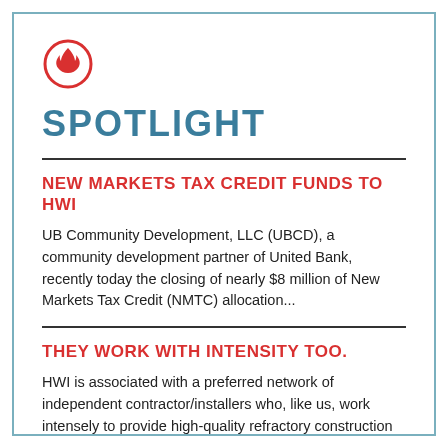[Figure (illustration): Red flame icon inside a red circle outline]
SPOTLIGHT
NEW MARKETS TAX CREDIT FUNDS TO HWI
UB Community Development, LLC (UBCD), a community development partner of United Bank, recently today the closing of nearly $8 million of New Markets Tax Credit (NMTC) allocation...
THEY WORK WITH INTENSITY TOO.
HWI is associated with a preferred network of independent contractor/installers who, like us, work intensely to provide high-quality refractory construction